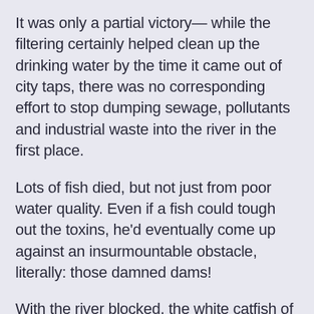It was only a partial victory— while the filtering certainly helped clean up the drinking water by the time it came out of city taps, there was no corresponding effort to stop dumping sewage, pollutants and industrial waste into the river in the first place.
Lots of fish died, but not just from poor water quality. Even if a fish could tough out the toxins, he'd eventually come up against an insurmountable obstacle, literally: those damned dams!
With the river blocked, the white catfish of "catfish and waffles" fame practically disappeared, along with many other "anadromous" species  — migratory shad, catfish, eels, etc. who live most of their lives in